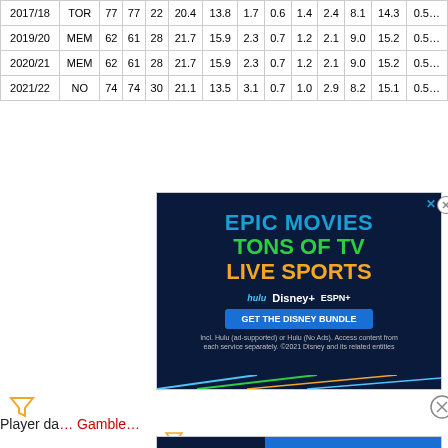|  |  |  |  |  |  |  |  |  |  |  |  |  |
| --- | --- | --- | --- | --- | --- | --- | --- | --- | --- | --- | --- | --- |
| 2017/18 | TOR | 77 | 77 | 22 | 20.4 | 13.8 | 1.7 | 0.6 | 1.4 | 2.4 | 8.1 | 14.3 | 0.5… |
| 2019/20 | MEM | 62 | 61 | 28 | 21.7 | 15.9 | 2.3 | 0.7 | 1.2 | 2.1 | 9.0 | 15.2 | 0.5… |
| 2020/21 | MEM | 62 | 61 | 28 | 21.7 | 15.9 | 2.3 | 0.7 | 1.2 | 2.1 | 9.0 | 15.2 | 0.5… |
| 2021/22 | NO | 74 | 74 | 30 | 21.1 | 13.5 | 3.1 | 0.7 | 1.0 | 2.9 | 8.2 | 15.1 | 0.5… |
[Figure (screenshot): Disney Bundle advertisement banner showing 'EPIC MOVIES TONS OF TV LIVE SPORTS' with Hulu, Disney+, ESPN+ logos and a 'GET THE DISNEY BUNDLE' button]
Player da… Gamble…
[Figure (screenshot): Small Disney Bundle ad strip with Hulu/Disney+/ESPN+ logos and GET THE DISNEY BUNDLE button]